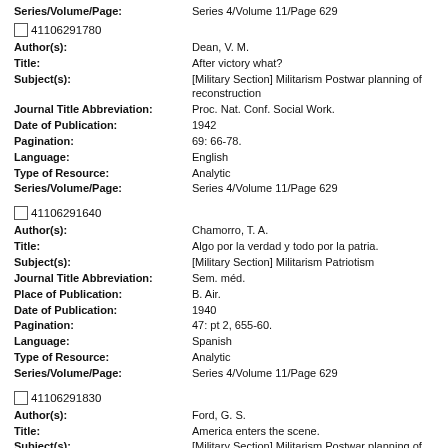Series/Volume/Page: Series 4/Volume 11/Page 629
41106291780
Author(s): Dean, V. M.
Title: After victory what?
Subject(s): [Military Section] Militarism Postwar planning of reconstruction
Journal Title Abbreviation: Proc. Nat. Conf. Social Work.
Date of Publication: 1942
Pagination: 69: 66-78.
Language: English
Type of Resource: Analytic
Series/Volume/Page: Series 4/Volume 11/Page 629
41106291640
Author(s): Chamorro, T. A.
Title: Algo por la verdad y todo por la patria.
Subject(s): [Military Section] Militarism Patriotism
Journal Title Abbreviation: Sem. méd.
Place of Publication: B. Air.
Date of Publication: 1940
Pagination: 47: pt 2, 655-60.
Language: Spanish
Type of Resource: Analytic
Series/Volume/Page: Series 4/Volume 11/Page 629
41106291830
Author(s): Ford, G. S.
Title: America enters the scene.
Subject(s): [Military Section] Militarism Postwar planning of